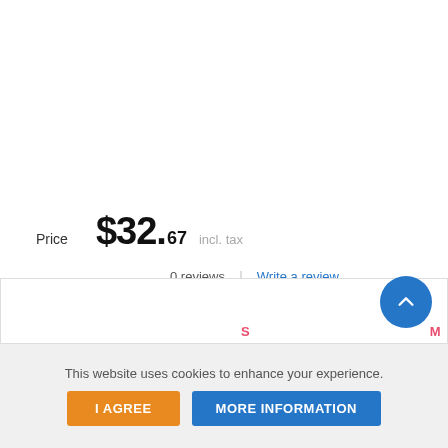Price   $32.67  incl. tax
0 reviews | Write a review
› Read full description
› Print preview
› Tell a friend
S   M
This website uses cookies to enhance your experience.
I AGREE   MORE INFORMATION